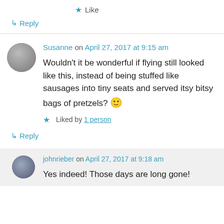★ Like
↳ Reply
Susanne on April 27, 2017 at 9:15 am
Wouldn't it be wonderful if flying still looked like this, instead of being stuffed like sausages into tiny seats and served itsy bitsy bags of pretzels? 🙂
★ Liked by 1 person
↳ Reply
johnrieber on April 27, 2017 at 9:18 am
Yes indeed! Those days are long gone!